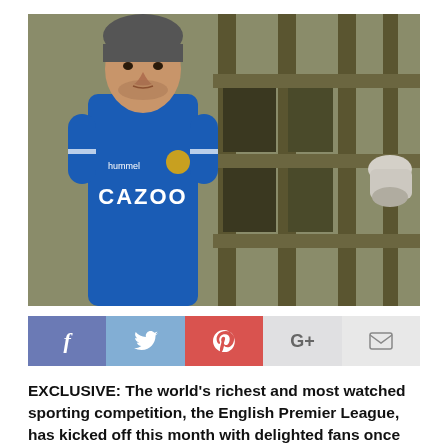[Figure (photo): A male footballer wearing a blue Everton Cazoo jersey stands in front of prison-like iron bars with a toilet visible in the background.]
[Figure (infographic): Social sharing bar with five buttons: Facebook (f), Twitter (bird icon), Pinterest (p), Google+ (G+), and Email (envelope icon).]
EXCLUSIVE: The world's richest and most watched sporting competition, the English Premier League, has kicked off this month with delighted fans once again back in stadiums across the UK. But while goals are being scored and celebrated there